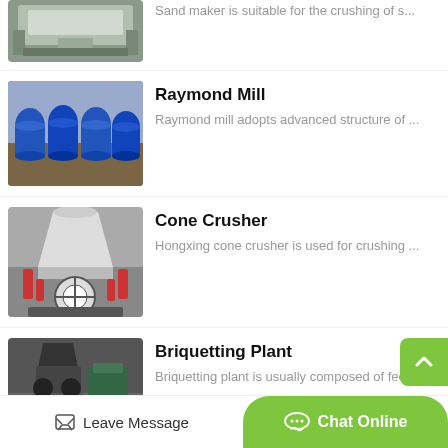[Figure (photo): Sand maker machine photo - industrial crushing equipment, top partial view]
Sand maker is suitable for the crushing of s...
[Figure (photo): Raymond Mill machines - blue industrial grinding mills in a factory]
Raymond Mill
Raymond mill adopts advanced structure of ...
[Figure (photo): Cone Crusher - large industrial cone crusher with red and white parts]
Cone Crusher
Hongxing cone crusher is used for crushing ...
[Figure (photo): Briquetting Plant machine - dark industrial briquetting equipment]
Briquetting Plant
Briquetting plant is usually composed of fee...
Leave Message
Chat Online